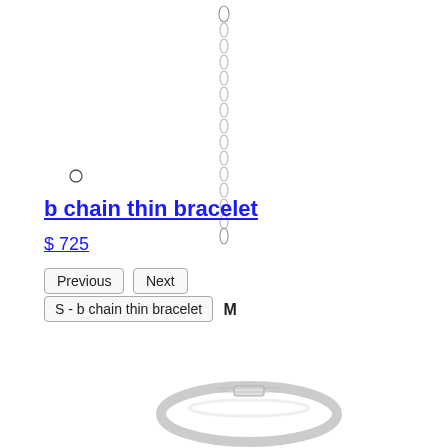[Figure (photo): A thin chain bracelet hanging vertically, silver-toned links, photographed against white background.]
[Figure (other): A small hollow circle/radio button UI element.]
b chain thin bracelet
$ 725
Previous  Next
S - b chain thin bracelet  M
[Figure (photo): A silver cuff/bangle bracelet with a clasp and engraved text, photographed from above against white background.]